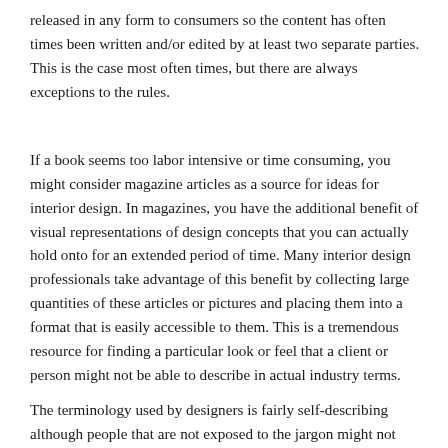released in any form to consumers so the content has often times been written and/or edited by at least two separate parties. This is the case most often times, but there are always exceptions to the rules.
If a book seems too labor intensive or time consuming, you might consider magazine articles as a source for ideas for interior design. In magazines, you have the additional benefit of visual representations of design concepts that you can actually hold onto for an extended period of time. Many interior design professionals take advantage of this benefit by collecting large quantities of these articles or pictures and placing them into a format that is easily accessible to them. This is a tremendous resource for finding a particular look or feel that a client or person might not be able to describe in actual industry terms.
The terminology used by designers is fairly self-describing although people that are not exposed to the jargon might not